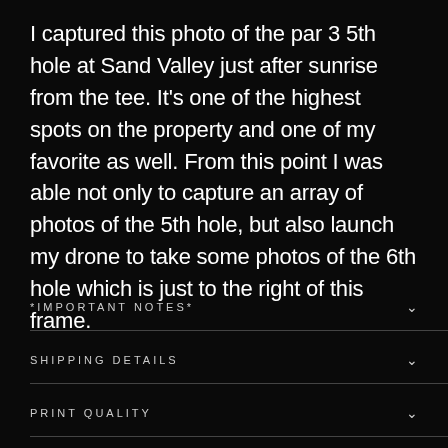I captured this photo of the par 3 5th hole at Sand Valley just after sunrise from the tee. It's one of the highest spots on the property and one of my favorite as well. From this point I was able not only to capture an array of photos of the 5th hole, but also launch my drone to take some photos of the 6th hole which is just to the right of this frame.
*IMPORTANT NOTES*
SHIPPING DETAILS
PRINT QUALITY